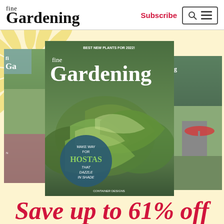fine Gardening
Subscribe
[Figure (illustration): Fine Gardening magazine subscription promotional banner showing multiple magazine covers with hostas on the cover, text reading 'BEST NEW PLANTS FOR 2022!' and 'MAKE WAY FOR HOSTAS THAT DAZZLE IN SHADE', set against a cream/yellow background with a sunburst decoration in the top left corner]
Save up to 61% off